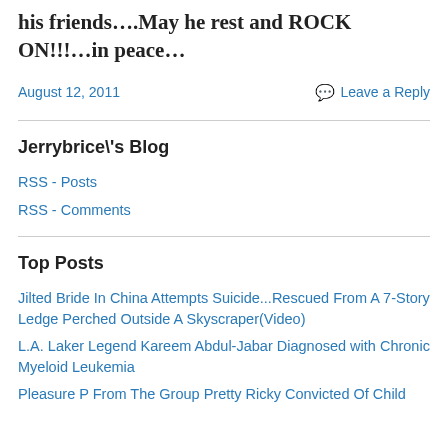his friends….May he rest and ROCK ON!!!…in peace…
August 12, 2011
Leave a Reply
Jerrybrice\s Blog
RSS - Posts
RSS - Comments
Top Posts
Jilted Bride In China Attempts Suicide...Rescued From A 7-Story Ledge Perched Outside A Skyscraper(Video)
L.A. Laker Legend Kareem Abdul-Jabar Diagnosed with Chronic Myeloid Leukemia
Pleasure P From The Group Pretty Ricky Convicted Of Child